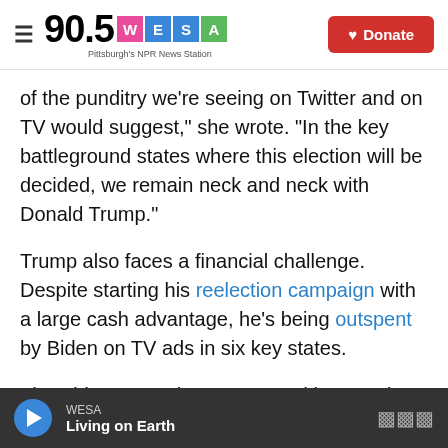90.5 WESA — Pittsburgh's NPR News Station | Donate
of the punditry we're seeing on Twitter and on TV would suggest," she wrote. "In the key battleground states where this election will be decided, we remain neck and neck with Donald Trump."
Trump also faces a financial challenge. Despite starting his reelection campaign with a large cash advantage, he's being outspent by Biden on TV ads in six key states.
The Biden campaign announced last week that along with allied Democratic groups, it raised $383 million in September alone — about $135 million
WESA — Living on Earth